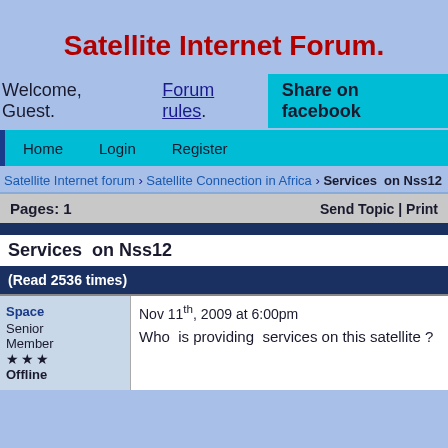Satellite Internet Forum.
Welcome, Guest.   Forum rules.   Share on facebook
Home   Login   Register
Satellite Internet forum › Satellite Connection in Africa › Services on Nss12
Pages: 1   Send Topic | Print
Services on Nss12
(Read 2536 times)
Space Senior Member ★★★ Offline
Nov 11th, 2009 at 6:00pm
Who is providing services on this satellite ?